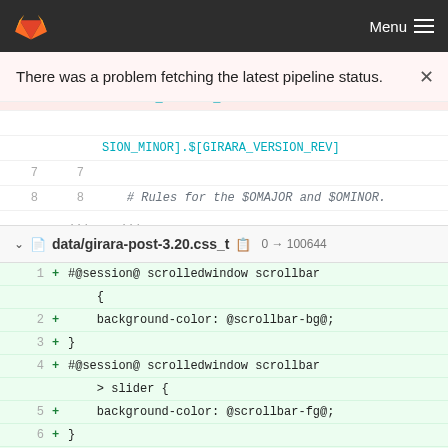GitLab Menu
There was a problem fetching the latest pipeline status.
[Figure (screenshot): Diff view showing deleted line with GIRARA_VERSION_REV = 0]
data/girara-post-3.20.css_t   0 → 100644
[Figure (screenshot): Diff view showing added CSS lines for @session@ scrolledwindow scrollbar with background-color and slider rules]